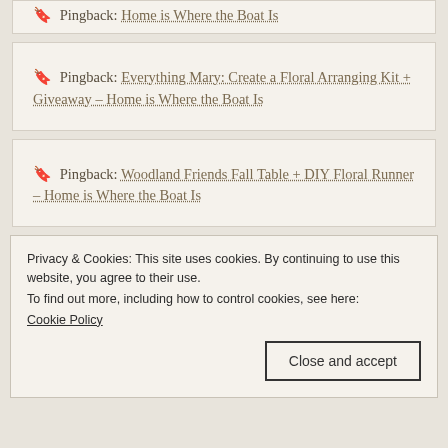Pingback: Everything Mary: Create a Floral Arranging Kit + Giveaway – Home is Where the Boat Is
Pingback: Woodland Friends Fall Table + DIY Floral Runner – Home is Where the Boat Is
Privacy & Cookies: This site uses cookies. By continuing to use this website, you agree to their use.
To find out more, including how to control cookies, see here: Cookie Policy
Close and accept